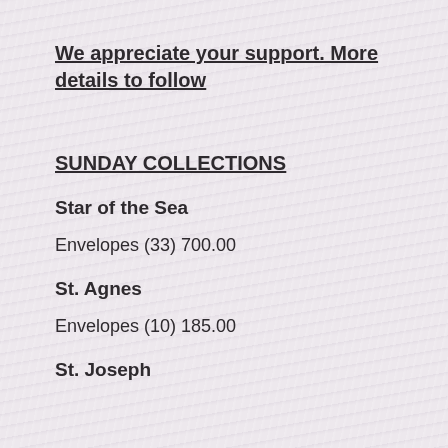We appreciate your support. More details to follow
SUNDAY COLLECTIONS
Star of the Sea
Envelopes (33) 700.00
St. Agnes
Envelopes (10) 185.00
St. Joseph